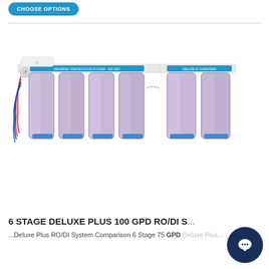CHOOSE OPTIONS
[Figure (photo): Two water filtration system units side by side — a 6-stage reverse osmosis plus system on the left with four translucent purple filter canisters and a DI canister unit on the right with two translucent purple filter canisters, both with white mounting brackets and blue/red tubing]
6 STAGE DELUXE PLUS 100 GPD RO/DI S...
...Deluxe Plus RO/DI System Comparison 6 Stage 75 GPD Deluxe Plus...